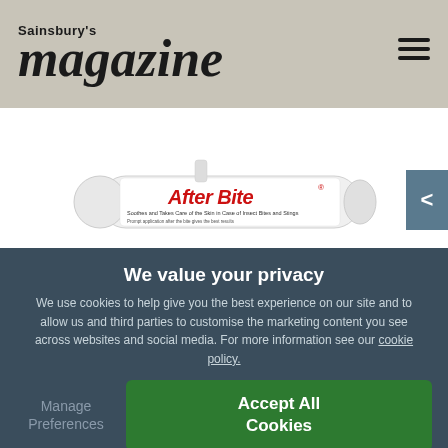Sainsbury's magazine
[Figure (photo): AfterBite product tube/pen - white cylindrical applicator with red AfterBite branding text reading 'After Bite' and subtitle text. A navy blue travel pouch is partially visible at the bottom.]
We value your privacy
We use cookies to help give you the best experience on our site and to allow us and third parties to customise the marketing content you see across websites and social media. For more information see our cookie policy.
Manage Preferences
Accept All Cookies